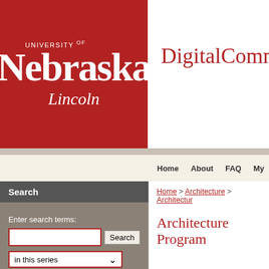[Figure (logo): University of Nebraska Lincoln logo on red background]
DigitalCommon
Home   About   FAQ   My
Search
Enter search terms:
in this series
Advanced Search
Search Help
Notify me via email or RSS
How to Cite Items From This Repository
Home > Architecture > Architectur
Architecture Program